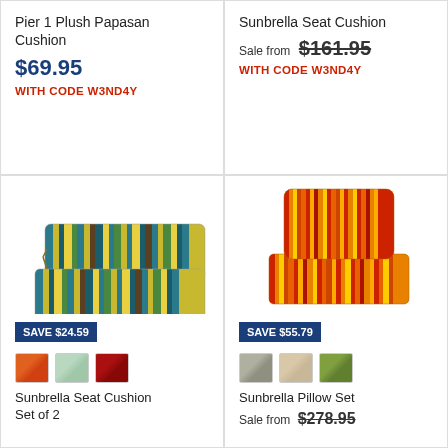Pier 1 Plush Papasan Cushion
$69.95
WITH CODE W3ND4Y
Sunbrella Seat Cushion
Sale from $161.95
WITH CODE W3ND4Y
[Figure (photo): Striped outdoor seat cushion set with teal, yellow, green, and brown stripes with ties]
SAVE $24.59
Sunbrella Seat Cushion Set of 2
[Figure (photo): Striped outdoor pillow and seat cushion set in red, orange, and yellow stripes]
SAVE $55.79
Sunbrella Pillow Set
Sale from $278.95